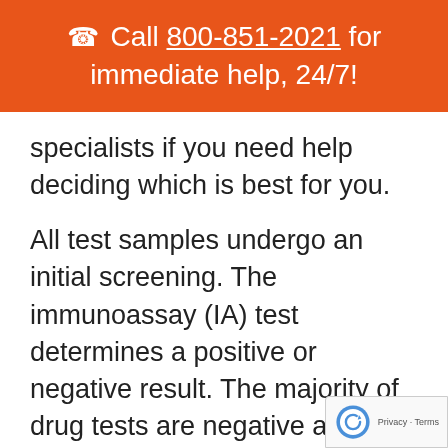☎ Call 800-851-2021 for immediate help, 24/7!
specialists if you need help deciding which is best for you.
All test samples undergo an initial screening. The immunoassay (IA) test determines a positive or negative result. The majority of drug tests are negative and this cost-efficient test saves employers money because n